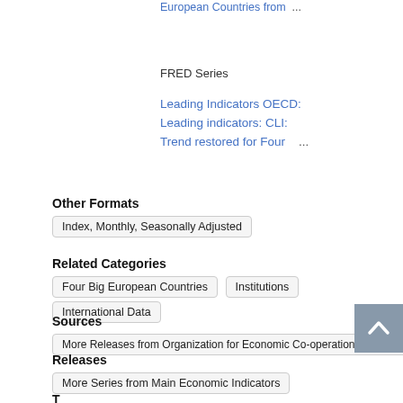European Countries from  ...
FRED Series
Leading Indicators OECD: Leading indicators: CLI: Trend restored for Four  ...
Other Formats
Index, Monthly, Seasonally Adjusted
Related Categories
Four Big European Countries
Institutions
International Data
Sources
More Releases from Organization for Economic Co-operation and Development
Releases
More Series from Main Economic Indicators
T